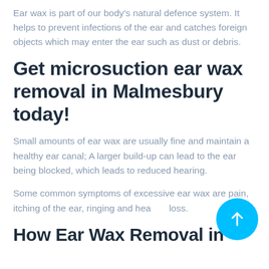Ear wax is part of our body's natural defence system. It helps to prevent infections of the ear and catches foreign objects which may enter the ear such as dust or debris.
Get microsuction ear wax removal in Malmesbury today!
Small amounts of ear wax are usually fine and maintain a healthy ear canal; A larger build-up can lead to the ear being blocked, which leads to reduced hearing.
Some common symptoms of excessive ear wax are pain, itching of the ear, ringing and hearing loss.
How Ear Wax Removal in